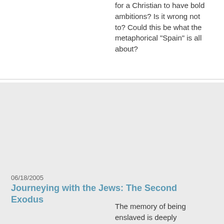for a Christian to have bold ambitions? Is it wrong not to? Could this be what the metaphorical "Spain" is all about?
06/18/2005
Journeying with the Jews: The Second Exodus
The memory of being enslaved is deeply embedded in the psyche of any community that has once been enslaved. As is any accompanying exodus or emancipation. Ask any Jew or African American...